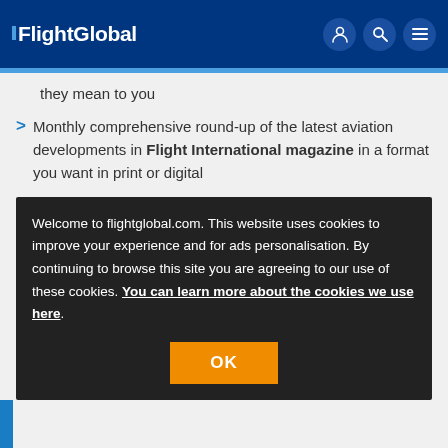FlightGlobal
they mean to you
Monthly comprehensive round-up of the latest aviation developments in Flight International magazine in a format you want in print or digital
Welcome to flightglobal.com. This website uses cookies to improve your experience and for ads personalisation. By continuing to browse this site you are agreeing to our use of these cookies. You can learn more about the cookies we use here.
OK